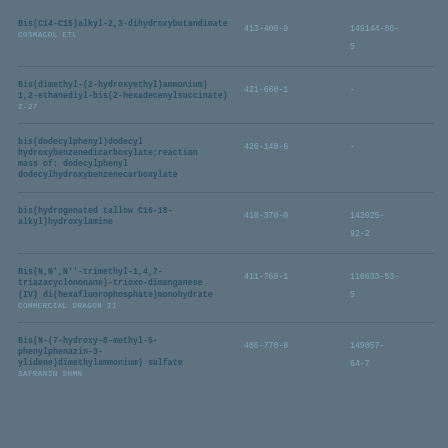| Chemical Name / Trade Name | EC Number | CAS Number |
| --- | --- | --- |
| Bis(C14-C15)alkyl-2,3-dihydroxybutandioate
COSMACOL ETL | 413-400-9 | 149144-86-5 |
| Bis(dimethyl-(2-hydroxyethyl)ammonium)1,2-ethanediyl-bis(2-hexadecenylsuccinate)
Z-27 | 421-660-1 | - |
| bis(dodecylphenyl)dodecyl hydroxybenzenedicarboxylate;reaction mass of: dodecylphenyl dodecylhydroxybenzenecarboxylate | 426-140-6 | - |
| bis(hydrogenated tallow C16-18-alkyl)hydroxylamine | 418-370-0 | 143925-92-2 |
| Bis(N,N',N''-trimethyl-1,4,7-triazacyclononane)-trioxo-dimanganese(IV) di(hexafluorophosphate)monohydrate
COMMERCIAL DRAGON II | 411-760-1 | 116633-53-5 |
| Bis(N-(7-hydroxy-8-methyl-5-phenylphenazin-3-ylidene)dimethylammonium) sulfate
SAFRANIN SHMN | 406-770-8 | 149057-64-7 |